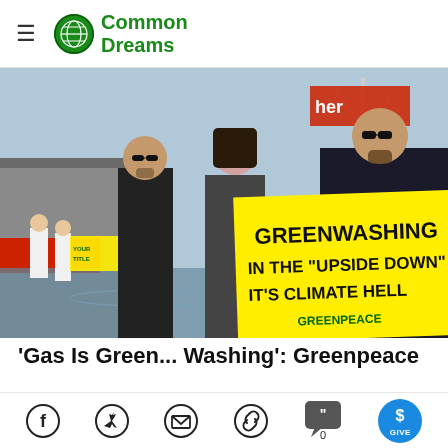Common Dreams
[Figure (photo): Greenpeace activists holding a large yellow banner reading 'GREENWASHING IN THE "UPSIDE DOWN" IT\'S CLIMATE HELL' being escorted by security personnel outdoors.]
'Gas Is Green... Washing': Greenpeace